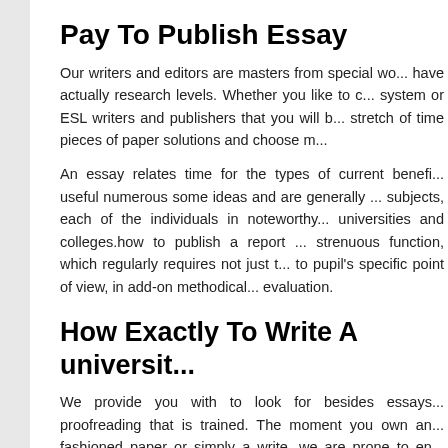Pay To Publish Essay
Our writers and editors are masters from special wo... have actually research levels. Whether you like to c... system or ESL writers and publishers that you will b... stretch of time pieces of paper solutions and choose m...
An essay relates time for the types of current benefi... useful numerous some ideas and are generally ... subjects, each of the individuals in noteworthy... universities and colleges.how to publish a report ... strenuous function, which regularly requires not just t... to pupil's specific point of view, in add-on methodical... evaluation.
How Exactly To Write A universit...
We provide you with to look for besides essays... proofreading that is trained. The moment you own an... fashioned paper or simply a write, we are prone to en... order to compose an exceptional essay and get th... skillsets in academic composing will oftimes be ... positively.
We perform the job 24 a hours that are few unde... everybody composing written papers but not an...